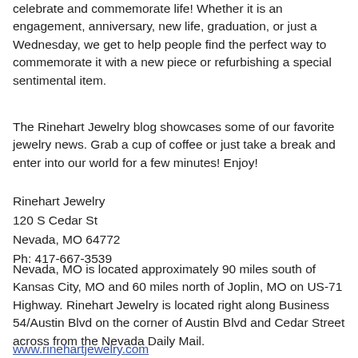celebrate and commemorate life! Whether it is an engagement, anniversary, new life, graduation, or just a Wednesday, we get to help people find the perfect way to commemorate it with a new piece or refurbishing a special sentimental item.
The Rinehart Jewelry blog showcases some of our favorite jewelry news. Grab a cup of coffee or just take a break and enter into our world for a few minutes! Enjoy!
Rinehart Jewelry
120 S Cedar St
Nevada, MO 64772
Ph: 417-667-3539
Nevada, MO is located approximately 90 miles south of Kansas City, MO and 60 miles north of Joplin, MO on US-71 Highway. Rinehart Jewelry is located right along Business 54/Austin Blvd on the corner of Austin Blvd and Cedar Street across from the Nevada Daily Mail.
www.rinehartjewelry.com